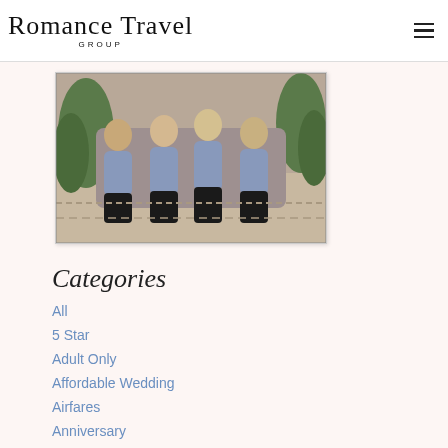Romance Travel GROUP
[Figure (photo): Group of four women in matching blue/grey tops sitting together casually in a room with plants]
Categories
All
5 Star
Adult Only
Affordable Wedding
Airfares
Anniversary